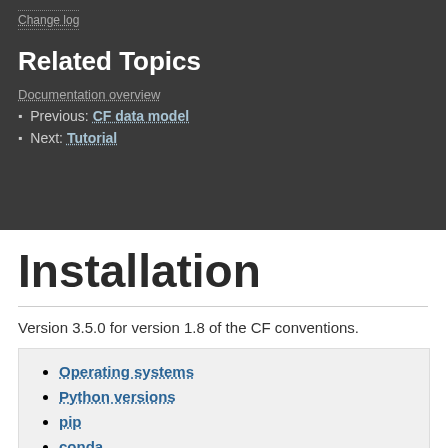Change log
Related Topics
Documentation overview
Previous: CF data model
Next: Tutorial
Installation
Version 3.5.0 for version 1.8 of the CF conventions.
Operating systems
Python versions
pip
conda